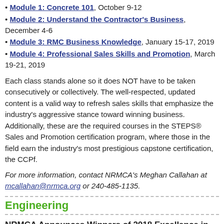Module 1: Concrete 101, October 9-12
Module 2: Understand the Contractor's Business, December 4-6
Module 3: RMC Business Knowledge, January 15-17, 2019
Module 4: Professional Sales Skills and Promotion, March 19-21, 2019
Each class stands alone so it does NOT have to be taken consecutively or collectively. The well-respected, updated content is a valid way to refresh sales skills that emphasize the industry's aggressive stance toward winning business. Additionally, these are the required courses in the STEPS® Sales and Promotion certification program, where those in the field earn the industry's most prestigious capstone certification, the CCPf.
For more information, contact NRMCA's Meghan Callahan at mcallahan@nrmca.org or 240-485-1135.
Engineering
NRMCA Announces Winners of 2018 Excellence in Quality Awards